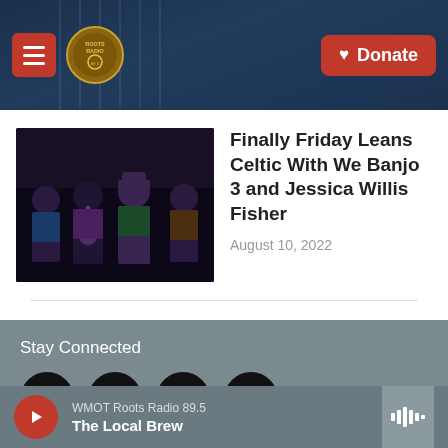Roots Radio — Donate
[Figure (photo): Group photo of We Banjo 3 musicians holding instruments against dark background]
Finally Friday Leans Celtic With We Banjo 3 and Jessica Willis Fisher
August 10, 2022
Stay Connected
[Figure (infographic): Social media icons: Twitter, Instagram, Facebook, LinkedIn — white icons on black circles]
WMOT Roots Radio 89.5
The Local Brew